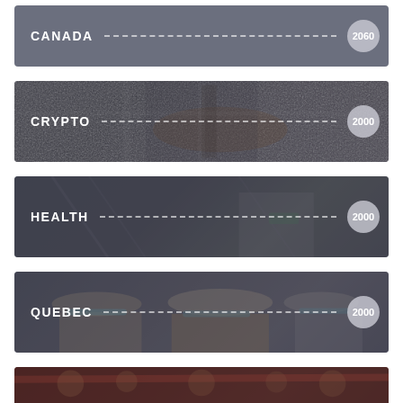[Figure (infographic): CANADA card with grey background, dashed line, and badge showing 2060]
[Figure (infographic): CRYPTO card with photo of guitarist background, dashed line, and badge showing 2000]
[Figure (infographic): HEALTH card with photo background (person with cables/cords), dashed line, and badge showing 2000]
[Figure (infographic): QUEBEC card with photo of masked people background, dashed line, and badge showing 2000]
[Figure (infographic): Partial card at bottom with photo background (crowd scene), partially visible]